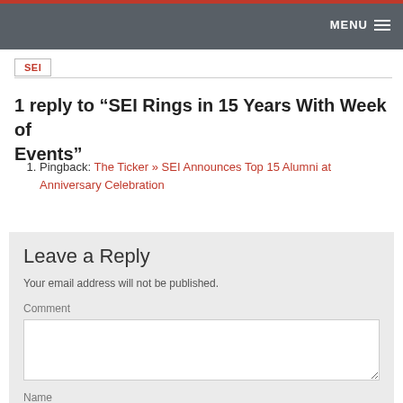MENU
SEI
1 reply to “SEI Rings in 15 Years With Week of Events”
Pingback: The Ticker » SEI Announces Top 15 Alumni at Anniversary Celebration
Leave a Reply
Your email address will not be published.
Comment
Name